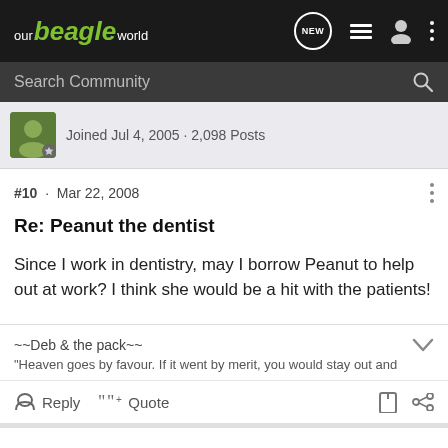our beagle world
Search Community
Joined Jul 4, 2005 · 2,098 Posts
#10 · Mar 22, 2008
Re: Peanut the dentist
Since I work in dentistry, may I borrow Peanut to help out at work? I think she would be a hit with the patients!
~~Deb & the pack~~
"Heaven goes by favour. If it went by merit, you would stay out and
Reply  Quote